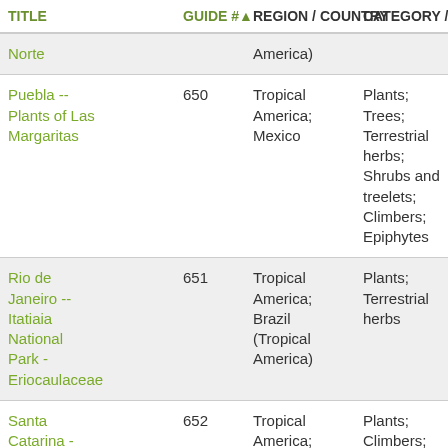| TITLE | GUIDE #▲ | REGION / COUNTRY | CATEGORY / SU |
| --- | --- | --- | --- |
| Norte |  | America) |  |
| Puebla -- Plants of Las Margaritas | 650 | Tropical America; Mexico | Plants; Trees; Terrestrial herbs; Shrubs and treelets; Climbers; Epiphytes |
| Rio de Janeiro -- Itatiaia National Park - Eriocaulaceae | 651 | Tropical America; Brazil (Tropical America) | Plants; Terrestrial herbs |
| Santa Catarina - | 652 | Tropical America; | Plants; Climbers; |